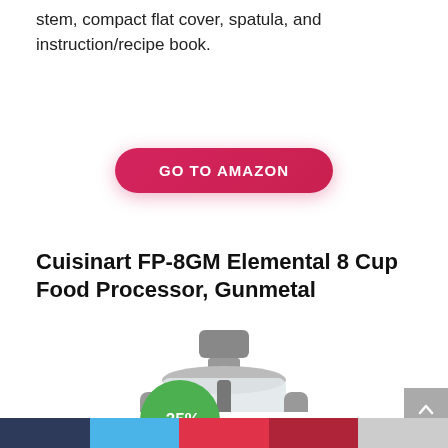stem, compact flat cover, spatula, and instruction/recipe book.
GO TO AMAZON
Cuisinart FP-8GM Elemental 8 Cup Food Processor, Gunmetal
[Figure (photo): Photo of Cuisinart FP-8GM food processor with -25% discount badge]
Social sharing bar at the bottom